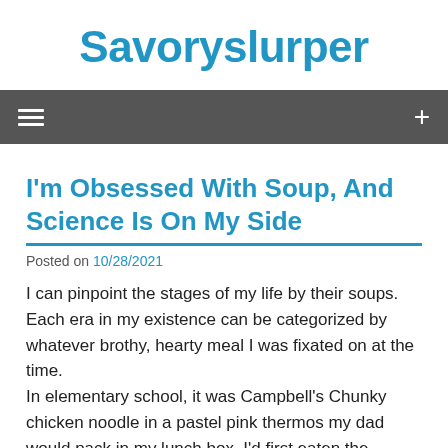Savoryslurper
I'm Obsessed With Soup, And Science Is On My Side
Posted on 10/28/2021
I can pinpoint the stages of my life by their soups. Each era in my existence can be categorized by whatever brothy, hearty meal I was fixated on at the time.
In elementary school, it was Campbell's Chunky chicken noodle in a pastel pink thermos my dad would pack in my lunch box. I'd first eaten the classic chicken noodle from Campbell's, the soup of Andy Warhol fame, but switched